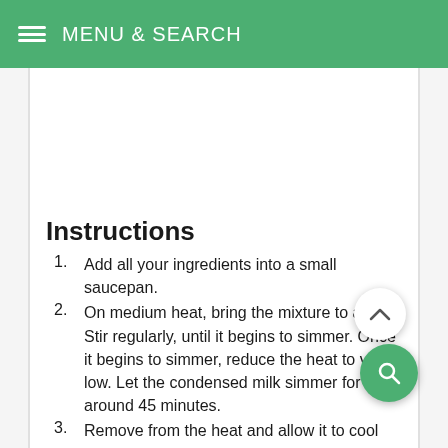MENU & SEARCH
Instructions
Add all your ingredients into a small saucepan.
On medium heat, bring the mixture to a boil. Stir regularly, until it begins to simmer. Once it begins to simmer, reduce the heat to very low. Let the condensed milk simmer for around 45 minutes.
Remove from the heat and allow it to cool down completely. Once cool, transfer to a glass jar or container and refrigerate.
Notes